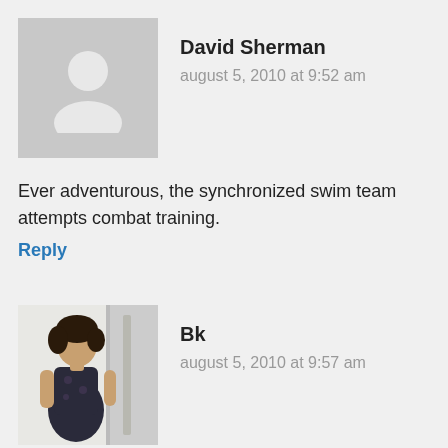[Figure (illustration): Gray placeholder avatar icon with silhouette of a person, for user David Sherman]
David Sherman
august 5, 2010 at 9:52 am
Ever adventurous, the synchronized swim team attempts combat training.
Reply
[Figure (photo): Profile photo of user Bk, a woman in a floral dress standing indoors]
Bk
august 5, 2010 at 9:57 am
And one, and two, and…wait why are we on the grass for this exercise?
Reply